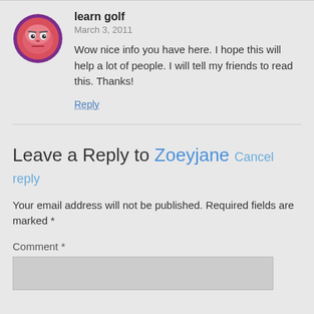[Figure (illustration): Round avatar with a cartoon face — pink/red face with simple eyes and mouth, surrounded by a purple/violet circular border]
learn golf
March 3, 2011
Wow nice info you have here. I hope this will help a lot of people. I will tell my friends to read this. Thanks!
Reply
Leave a Reply to Zoeyjane Cancel reply
Your email address will not be published. Required fields are marked *
Comment *